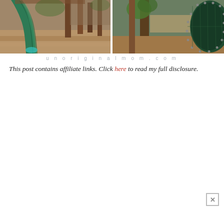[Figure (photo): Two side-by-side outdoor playground photos. Left photo shows a green spiral/curved slide with wood chip ground cover and wooden play structure supports. Right photo shows a large dark green enclosed tunnel/tube slide with bolted panels, trees and wooden deck visible behind. Watermark 'unoriginalmom.com' centered below in light gray letters.]
This post contains affiliate links. Click here to read my full disclosure.